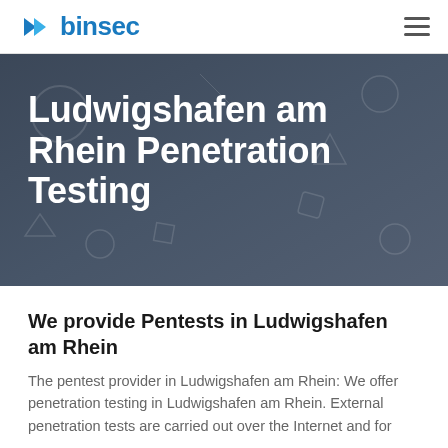binsec
Ludwigshafen am Rhein Penetration Testing
We provide Pentests in Ludwigshafen am Rhein
The pentest provider in Ludwigshafen am Rhein: We offer penetration testing in Ludwigshafen am Rhein. External penetration tests are carried out over the Internet and for